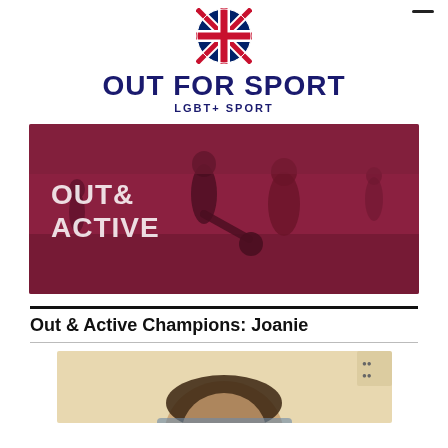[Figure (logo): Out For Sport logo with Union Jack ball icon and text OUT FOR SPORT / LGBT+ SPORT]
[Figure (photo): Red-tinted banner photo of football players on a pitch with overlaid text OUT & ACTIVE]
Out & Active Champions: Joanie
[Figure (photo): Partial portrait photo of a person with dark hair, warm-toned background]